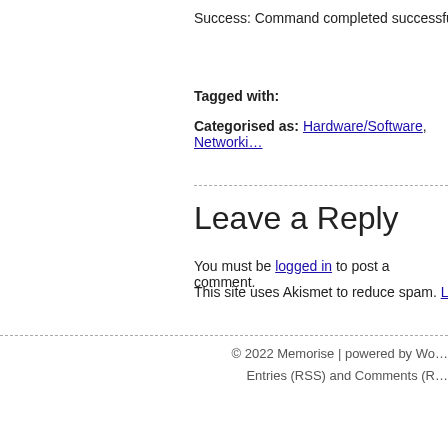Success: Command completed successfully. (2…
Tagged with:
Categorised as: Hardware/Software, Networki…
Leave a Reply
You must be logged in to post a comment.
This site uses Akismet to reduce spam. Learn h…
© 2022 Memorise | powered by Wo… Entries (RSS) and Comments (R…